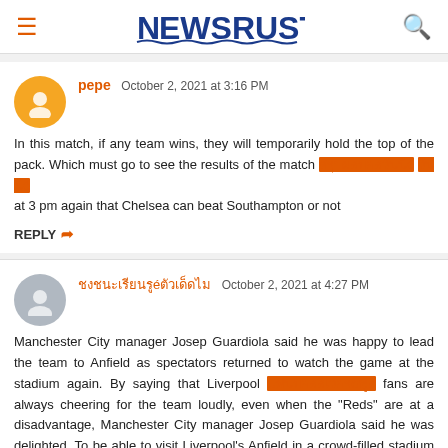NEWSRUST
pepe  October 2, 2021 at 3:16 PM
In this match, if any team wins, they will temporarily hold the top of the pack. Which must go to see the results of the match [thai text] [thai text]
at 3 pm again that Chelsea can beat Southampton or not
REPLY
[thai username]  October 2, 2021 at 4:27 PM
Manchester City manager Josep Guardiola said he was happy to lead the team to Anfield as spectators returned to watch the game at the stadium again. By saying that Liverpool [thai text] fans are always cheering for the team loudly, even when the "Reds" are at a disadvantage, Manchester City manager Josep Guardiola said he was delighted. To be able to visit Liverpool's Anfield in a crowd-filled stadium after the two teams have a d on Sunday, October 3.